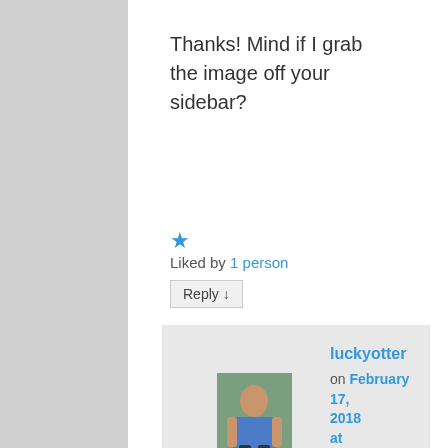Thanks! Mind if I grab the image off your sidebar?
★ Liked by 1 person
Reply ↓
luckyotter on February 17, 2018 at 5:18 am said:
Not at all! I grabbed